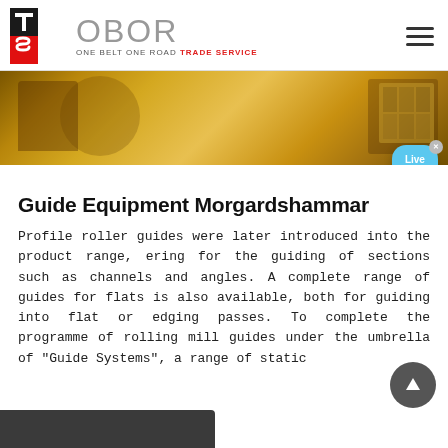OBOR - ONE BELT ONE ROAD TRADE SERVICE
[Figure (photo): Industrial yellow machinery/equipment, crusher or mill equipment in an outdoor setting]
Guide Equipment Morgardshammar
Profile roller guides were later introduced into the product range, ering for the guiding of sections such as channels and angles. A complete range of guides for flats is also available, both for guiding into flat or edging passes. To complete the programme of rolling mill guides under the umbrella of "Guide Systems", a range of static